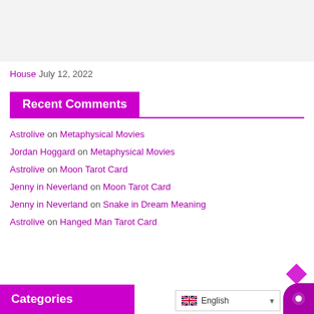[Figure (other): Gray background area at the top of the page]
House July 12, 2022
Recent Comments
Astrolive on Metaphysical Movies
Jordan Hoggard on Metaphysical Movies
Astrolive on Moon Tarot Card
Jenny in Neverland on Moon Tarot Card
Jenny in Neverland on Snake in Dream Meaning
Astrolive on Hanged Man Tarot Card
Categories
English